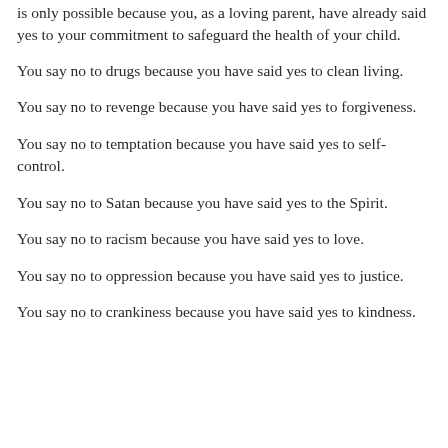is only possible because you, as a loving parent, have already said yes to your commitment to safeguard the health of your child.
You say no to drugs because you have said yes to clean living.
You say no to revenge because you have said yes to forgiveness.
You say no to temptation because you have said yes to self-control.
You say no to Satan because you have said yes to the Spirit.
You say no to racism because you have said yes to love.
You say no to oppression because you have said yes to justice.
You say no to crankiness because you have said yes to kindness.